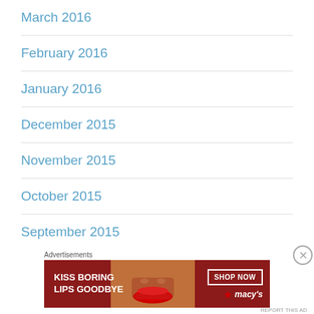March 2016
February 2016
January 2016
December 2015
November 2015
October 2015
September 2015
August 2015
Advertisements
[Figure (other): Macy's advertisement banner with text 'KISS BORING LIPS GOODBYE' and 'SHOP NOW' button, featuring a woman's face with red lips]